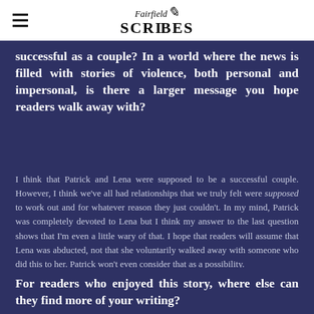Fairfield SCRIBES
successful as a couple? In a world where the news is filled with stories of violence, both personal and impersonal, is there a larger message you hope readers walk away with?
I think that Patrick and Lena were supposed to be a successful couple. However, I think we've all had relationships that we truly felt were supposed to work out and for whatever reason they just couldn't. In my mind, Patrick was completely devoted to Lena but I think my answer to the last question shows that I'm even a little wary of that. I hope that readers will assume that Lena was abducted, not that she voluntarily walked away with someone who did this to her. Patrick won't even consider that as a possibility.
For readers who enjoyed this story, where else can they find more of your writing?